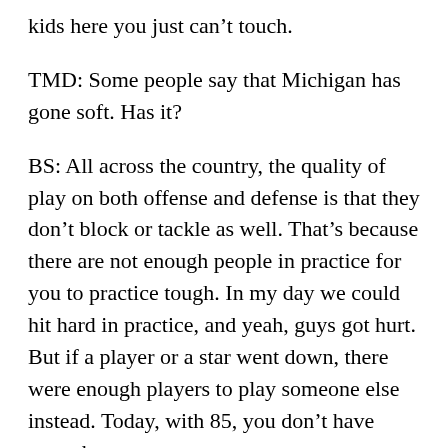kids here you just can't touch.
TMD: Some people say that Michigan has gone soft. Has it?
BS: All across the country, the quality of play on both offense and defense is that they don't block or tackle as well. That's because there are not enough people in practice for you to practice tough. In my day we could hit hard in practice, and yeah, guys got hurt. But if a player or a star went down, there were enough players to play someone else instead. Today, with 85, you don't have enough guys.
TMD: Does that mean that guys coming out of the Big Ten, or anywhere in the nation for that